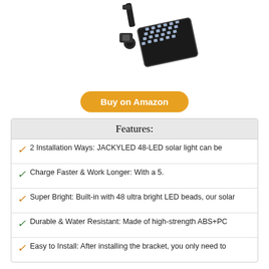[Figure (photo): Solar outdoor LED flood light with bracket mounting hardware, shown at angle, dark/black housing with LED panel]
Buy on Amazon
| Features: |
| --- |
| 2 Installation Ways: JACKYLED 48-LED solar light can be |
| Charge Faster & Work Longer: With a 5. |
| Super Bright: Built-in with 48 ultra bright LED beads, our solar |
| Durable & Water Resistant: Made of high-strength ABS+PC |
| Easy to Install: After installing the bracket, you only need to |
8. SOLAR OUTDOOR LIGHTS STAY ON FROM DUSK TO DAWN FOR FENCE DECK STEP (8 PACK, 20LM)